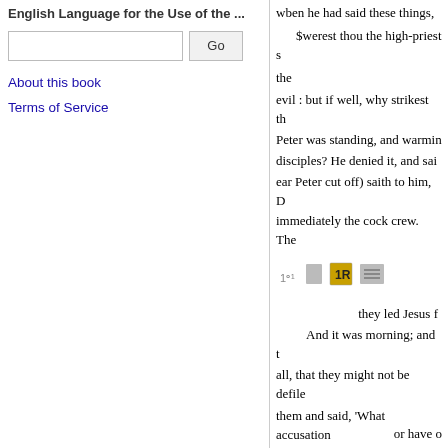English Language for the Use of the ...
About this book
Terms of Service
wben he had said these things,
$werest thou the high-priest s the
evil : but if well, why strikest th Peter was standing, and warmin disciples? He denied it, and sai ear Peter cut off) saith to him, D immediately the cock crew. The
[Figure (screenshot): Toolbar with navigation/view icons including a highlighted orange/yellow square icon]
they led Jesus f And it was morning; and t all, that they might not be defile them and said, 'What accusation not a malefactor we would not l judge him according to your lan death. That the word of Jesus m therefore went into the hall aga answered, Sapest thou this thin
or have o